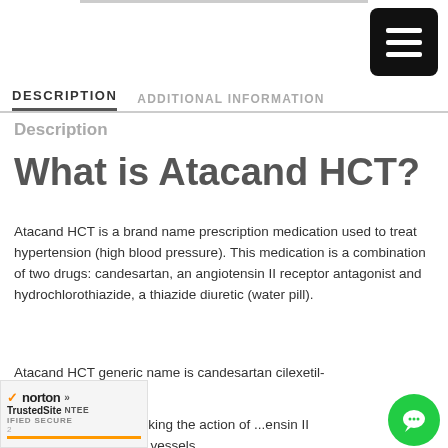DESCRIPTION | ADDITIONAL INFORMATION
Description
What is Atacand HCT?
Atacand HCT is a brand name prescription medication used to treat hypertension (high blood pressure). This medication is a combination of two drugs: candesartan, an angiotensin II receptor antagonist and hydrochlorothiazide, a thiazide diuretic (water pill).
Atacand HCT generic name is candesartan cilexetil-hydrochlorothiazide.
...sartan works by blocking the action of ...ensin II that tightens the blood vessels